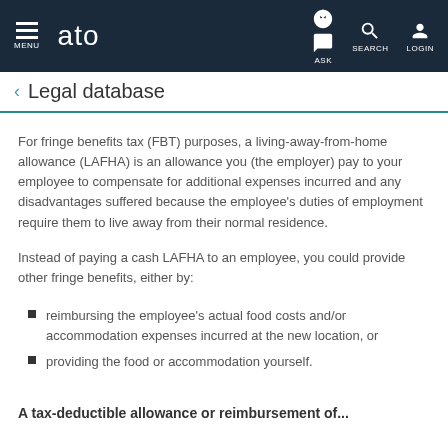ato — MENU | ASK | SEARCH | LOGIN
Legal database
For fringe benefits tax (FBT) purposes, a living-away-from-home allowance (LAFHA) is an allowance you (the employer) pay to your employee to compensate for additional expenses incurred and any disadvantages suffered because the employee's duties of employment require them to live away from their normal residence.
Instead of paying a cash LAFHA to an employee, you could provide other fringe benefits, either by:
reimbursing the employee's actual food costs and/or accommodation expenses incurred at the new location, or
providing the food or accommodation yourself.
A tax-deductible allowance or reimbursement of...